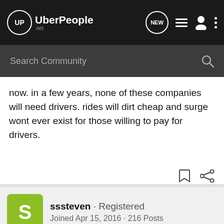UberPeople.net — navigation bar with search
now. in a few years, none of these companies will need drivers. rides will dirt cheap and surge wont ever exist for those willing to pay for drivers.
sssteven · Registered
Joined Apr 15, 2016 · 216 Posts
#9 · Jun 7, 2016
HeyNow said: ↑
again, how was fair surge decided and implemented? who was consulted? how was any of that "STRAIGHT UP"? they removed it within seconds because they literally had zero justification for it after